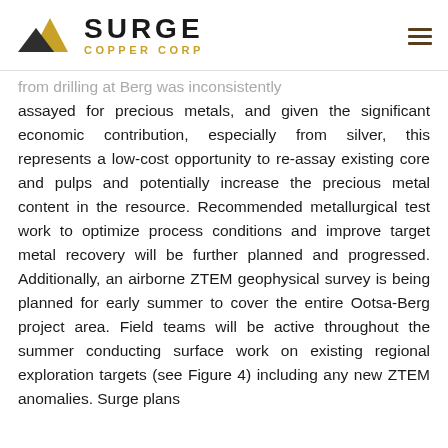SURGE COPPER CORP
...from drilling at Berg was inconsistently assayed for precious metals, and given the significant economic contribution, especially from silver, this represents a low-cost opportunity to re-assay existing core and pulps and potentially increase the precious metal content in the resource. Recommended metallurgical test work to optimize process conditions and improve target metal recovery will be further planned and progressed. Additionally, an airborne ZTEM geophysical survey is being planned for early summer to cover the entire Ootsa-Berg project area. Field teams will be active throughout the summer conducting surface work on existing regional exploration targets (see Figure 4) including any new ZTEM anomalies. Surge plans